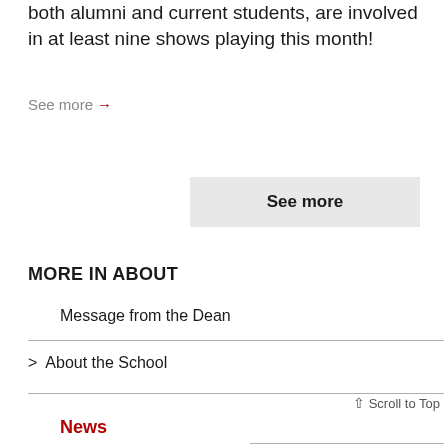both alumni and current students, are involved in at least nine shows playing this month!
See more →
See more
MORE IN ABOUT
Message from the Dean
About the School
↑ Scroll to Top
News